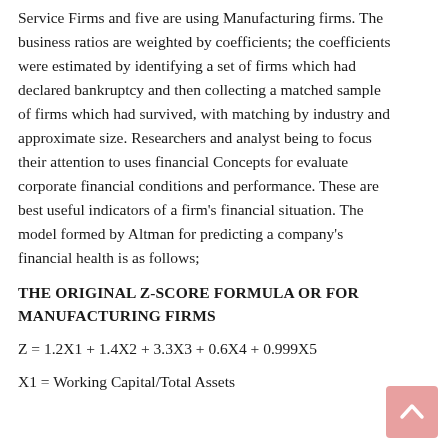Service Firms and five are using Manufacturing firms. The business ratios are weighted by coefficients; the coefficients were estimated by identifying a set of firms which had declared bankruptcy and then collecting a matched sample of firms which had survived, with matching by industry and approximate size. Researchers and analyst being to focus their attention to uses financial Concepts for evaluate corporate financial conditions and performance. These are best useful indicators of a firm's financial situation. The model formed by Altman for predicting a company's financial health is as follows;
THE ORIGINAL Z-SCORE FORMULA OR FOR MANUFACTURING FIRMS
X1 = Working Capital/Total Assets